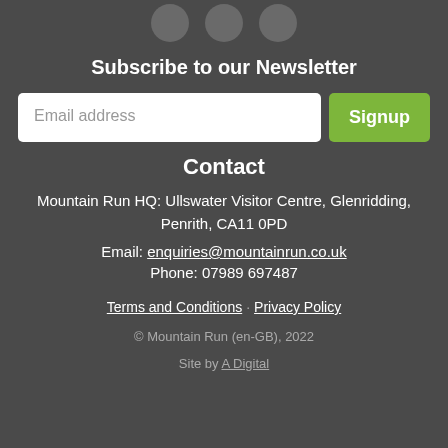[Figure (illustration): Three social media icon circles (partially visible at top)]
Subscribe to our Newsletter
[Figure (other): Email address input field with Signup button]
Contact
Mountain Run HQ: Ullswater Visitor Centre, Glenridding, Penrith, CA11 0PD
Email: enquiries@mountainrun.co.uk
Phone: 07989 697487
Terms and Conditions · Privacy Policy
© Mountain Run (en-GB), 2022
Site by A Digital